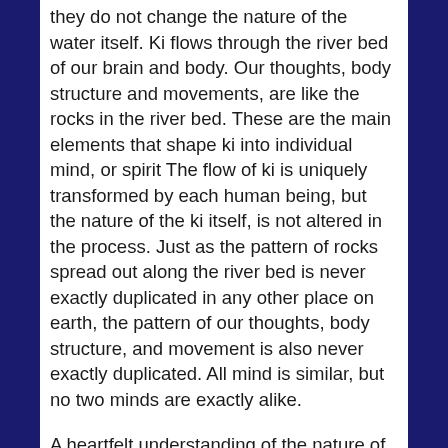they do not change the nature of the water itself. Ki flows through the river bed of our brain and body. Our thoughts, body structure and movements, are like the rocks in the river bed. These are the main elements that shape ki into individual mind, or spirit The flow of ki is uniquely transformed by each human being, but the nature of the ki itself, is not altered in the process. Just as the pattern of rocks spread out along the river bed is never exactly duplicated in any other place on earth, the pattern of our thoughts, body structure, and movement is also never exactly duplicated. All mind is similar, but no two minds are exactly alike.
A heartfelt understanding of the nature of our spirit will help us to create a healthy alignment of our thoughts, body structure, movements, and actions. When every aspect of our self is fully aligned we have a much greater ability to think, feel, and act in accordance with what is best for us in any given moment. We are better